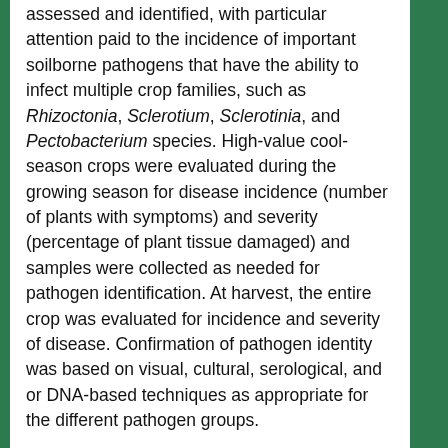assessed and identified, with particular attention paid to the incidence of important soilborne pathogens that have the ability to infect multiple crop families, such as Rhizoctonia, Sclerotium, Sclerotinia, and Pectobacterium species. High-value cool-season crops were evaluated during the growing season for disease incidence (number of plants with symptoms) and severity (percentage of plant tissue damaged) and samples were collected as needed for pathogen identification. At harvest, the entire crop was evaluated for incidence and severity of disease. Confirmation of pathogen identity was based on visual, cultural, serological, and or DNA-based techniques as appropriate for the different pathogen groups.
Strawberry fruit was evaluated for fruit rot caused by C. acutatum and B. cinerea by determining the percentage of fruit from each treatment exhibiting disease